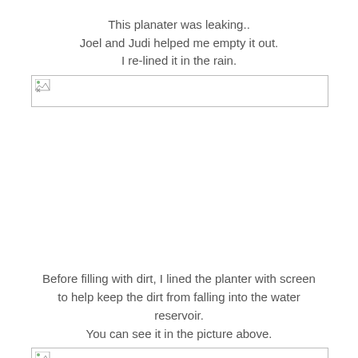This planater was leaking..
Joel and Judi helped me empty it out.
I re-lined it in the rain.
[Figure (photo): Broken/missing image placeholder for planter photo]
Before filling with dirt, I lined the planter with screen to help keep the dirt from falling into the water reservoir.
You can see it in the picture above.
[Figure (photo): Broken/missing image placeholder for planter with screen photo]